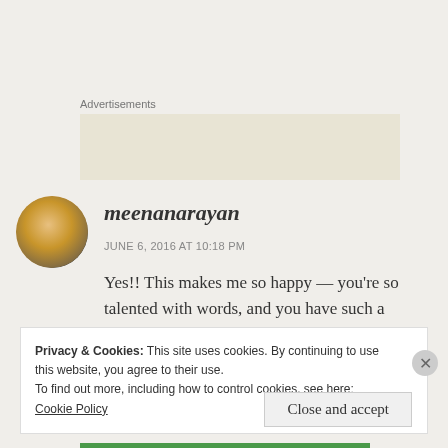Advertisements
[Figure (other): Advertisement placeholder box with beige/tan background]
[Figure (photo): Circular avatar image showing a rolled paper/scroll object against an orange/tan background]
meenanarayan
JUNE 6, 2016 AT 10:18 PM
Yes!! This makes me so happy — you're so talented with words, and you have such a
Privacy & Cookies: This site uses cookies. By continuing to use this website, you agree to their use.
To find out more, including how to control cookies, see here: Cookie Policy
Close and accept